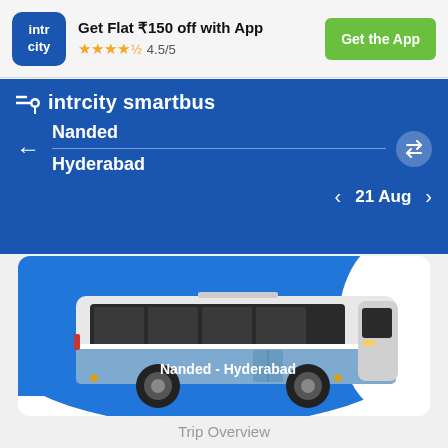[Figure (screenshot): IntrCity logo box — blue rounded square with 'intr city' text in white]
Get Flat ₹150 off with App
★★★★½ 4.5/5
Get the App
[Figure (logo): IntrCity SmartBus brand header with speed lines icon]
Nanded
Hyderabad
21 Aug
[Figure (illustration): Bus illustration showing a blue and white intercity coach with text 'Nanded - Hyderabad' on the side, on a blue background]
Trip Overview